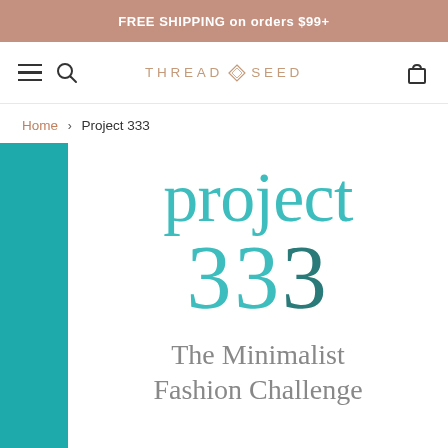FREE SHIPPING on orders $99+
[Figure (logo): Thread & Seed logo with navigation bar including hamburger menu, search icon, and cart icon]
Home > Project 333
project 333 The Minimalist Fashion Challenge